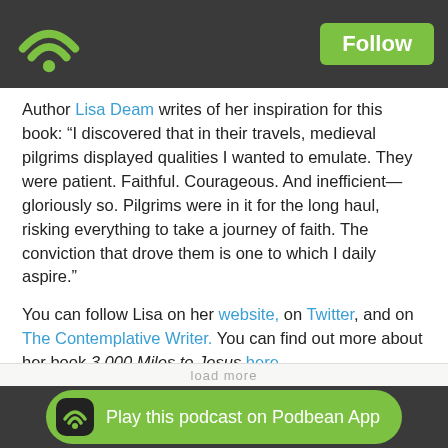[Figure (screenshot): Podbean app header with WiFi/podcast logo on left and green Follow button on right, dark gray background]
Author Lisa Deam writes of her inspiration for this book: “I discovered that in their travels, medieval pilgrims displayed qualities I wanted to emulate. They were patient. Faithful. Courageous. And inefficient—gloriously so. Pilgrims were in it for the long haul, risking everything to take a journey of faith. The conviction that drove them is one to which I daily aspire.”
You can follow Lisa on her website, on Twitter, and on The Contemplative Writer. You can find out more about her book 3,000 Miles to Jesus here.
♥ Likes  Share  |  ↓ Download(1184)
[Figure (screenshot): Green Play this podcast on Podbean App button with podcast icon, dark gray footer bar]
load more